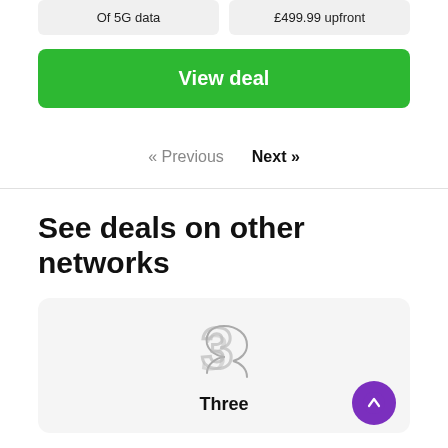| Of 5G data | £499.99 upfront |
| --- | --- |
View deal
« Previous   Next »
See deals on other networks
[Figure (logo): Three UK logo — stylised number 3]
Three